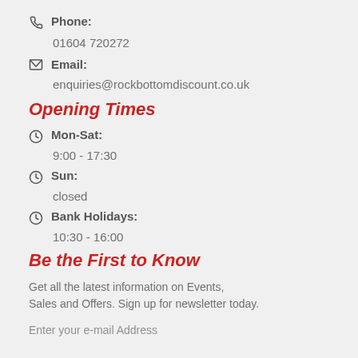Phone: 01604 720272
Email: enquiries@rockbottomdiscount.co.uk
Opening Times
Mon-Sat: 9:00 - 17:30
Sun: closed
Bank Holidays: 10:30 - 16:00
Be the First to Know
Get all the latest information on Events, Sales and Offers. Sign up for newsletter today.
Enter your e-mail Address